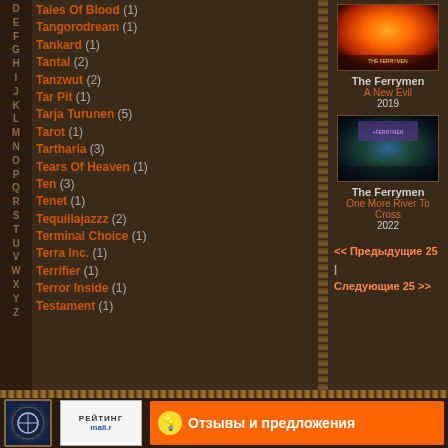Tales Of Blood (1)
Tangorodream (1)
Tankard (1)
Tantal (2)
Tanzwut (2)
Tar Pit (1)
Tarja Turunen (5)
Tarot (1)
Tartharia (3)
Tears Of Heaven (1)
Ten (3)
Tenet (1)
Tequillajazzz (2)
Terminal Choice (1)
Terra Inc. (1)
Terrifier (1)
Terror Inside (1)
Testament (1)
[Figure (photo): Album cover for The Ferrymen - A New Evil 2019, fiery orange battle scene]
The Ferrymen
A New Evil
2019
[Figure (photo): Album cover for The Ferrymen - One More River To Cross 2022, fantasy blue-green scene]
The Ferrymen
One More River To Cross
2022
<< Предыдущие 25 | Следующие 25 >>
Отзывы и предложения